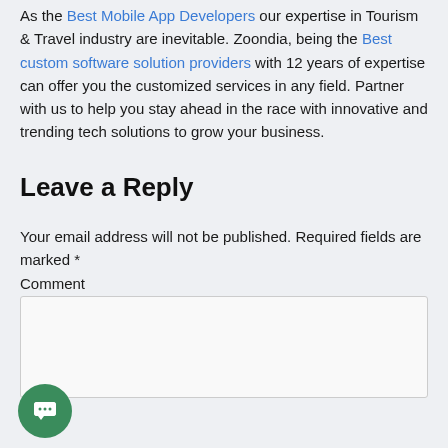As the Best Mobile App Developers our expertise in Tourism & Travel industry are inevitable. Zoondia, being the Best custom software solution providers with 12 years of expertise can offer you the customized services in any field. Partner with us to help you stay ahead in the race with innovative and trending tech solutions to grow your business.
Leave a Reply
Your email address will not be published. Required fields are marked *
Comment
[Figure (other): Green circular chat bubble icon with speech bubble dots]